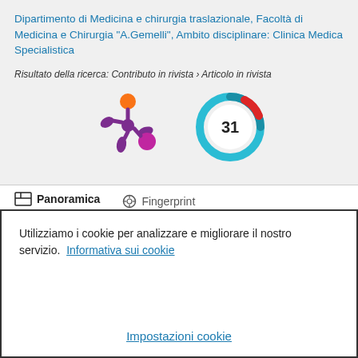Dipartimento di Medicina e chirurgia traslazionale, Facoltà di Medicina e Chirurgia "A.Gemelli", Ambito disciplinare: Clinica Medica Specialistica
Risultato della ricerca: Contributo in rivista › Articolo in rivista
[Figure (logo): Altmetric logo — purple splash/asterisk shape with orange and magenta dots]
[Figure (infographic): Circular citation badge showing the number 31 in teal/blue swirl ring with a red accent]
Panoramica   Fingerprint
Utilizziamo i cookie per analizzare e migliorare il nostro servizio.  Informativa sui cookie
Impostazioni cookie